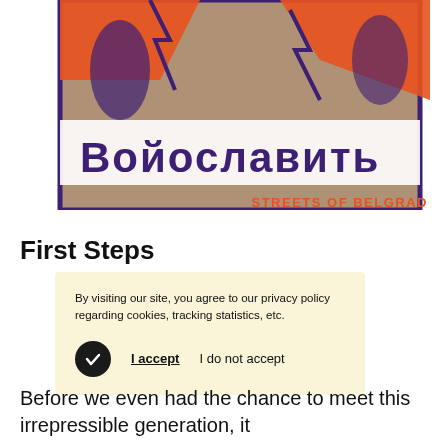[Figure (illustration): Colorful illustration with Cyrillic text, orange and teal colors, depicting urban/street scene with figures]
STREETS OF BELGRAD
First Steps
By visiting our site, you agree to our privacy policy regarding cookies, tracking statistics, etc.
I accept    I do not accept
Before we even had the chance to meet this irrepressible generation, it